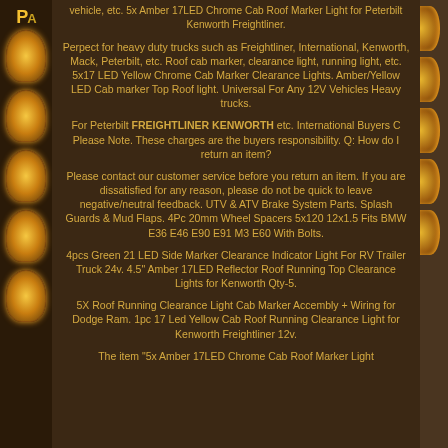vehicle, etc. 5x Amber 17LED Chrome Cab Roof Marker Light for Peterbilt Kenworth Freightliner.
Perpect for heavy duty trucks such as Freightliner, International, Kenworth, Mack, Peterbilt, etc. Roof cab marker, clearance light, running light, etc. 5x17 LED Yellow Chrome Cab Marker Clearance Lights. Amber/Yellow LED Cab marker Top Roof light. Universal For Any 12V Vehicles Heavy trucks.
For Peterbilt FREIGHTLINER KENWORTH etc. International Buyers C Please Note. These charges are the buyers responsibility. Q: How do I return an item?
Please contact our customer service before you return an item. If you are dissatisfied for any reason, please do not be quick to leave negative/neutral feedback. UTV & ATV Brake System Parts. Splash Guards & Mud Flaps. 4Pc 20mm Wheel Spacers 5x120 12x1.5 Fits BMW E36 E46 E90 E91 M3 E60 With Bolts.
4pcs Green 21 LED Side Marker Clearance Indicator Light For RV Trailer Truck 24v. 4.5" Amber 17LED Reflector Roof Running Top Clearance Lights for Kenworth Qty-5.
5X Roof Running Clearance Light Cab Marker Accembly + Wiring for Dodge Ram. 1pc 17 Led Yellow Cab Roof Running Clearance Light for Kenworth Freightliner 12v.
The item "5x Amber 17LED Chrome Cab Roof Marker Light